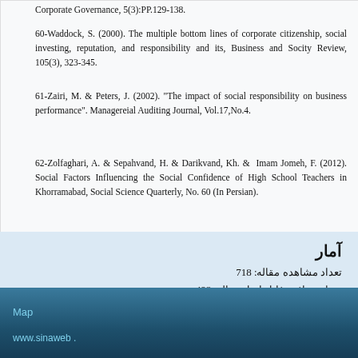Corporate Governance, 5(3):PP.129-138.
60-Waddock, S. (2000). The multiple bottom lines of corporate citizenship, social investing, reputation, and responsibility and its, Business and Socity Review, 105(3), 323-345.
61-Zairi, M. & Peters, J. (2002). "The impact of social responsibility on business performance". Managereial Auditing Journal, Vol.17,No.4.
62-Zolfaghari, A. & Sepahvand, H. & Darikvand, Kh. & Imam Jomeh, F. (2012). Social Factors Influencing the Social Confidence of High School Teachers in Khorramabad, Social Science Quarterly, No. 60 (In Persian).
آمار
تعداد مشاهده مقاله: 718
تعداد دریافت فایل اصل مقاله: 498
Map
www.sinaweb .